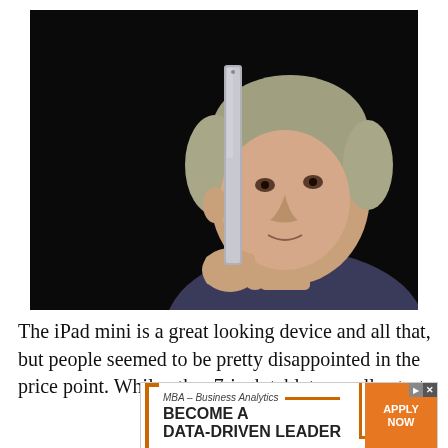[Figure (photo): A man holding a tablet device (iPad mini) vertically by its edge, showing how thin it is. The background is dark/black. The man has gray hair and is wearing a dark shirt.]
The iPad mini is a great looking device and all that, but people seemed to be pretty disappointed in the price point. While other 7-inch tablets usually start
[Figure (screenshot): An advertisement banner for High Point University MBA – Business Analytics program. Text: 'MBA – Business Analytics', 'BECOME A DATA-DRIVEN LEADER', 'APPLY NOW' button, 'HIGH POINT UNIVERSITY' on purple background.]